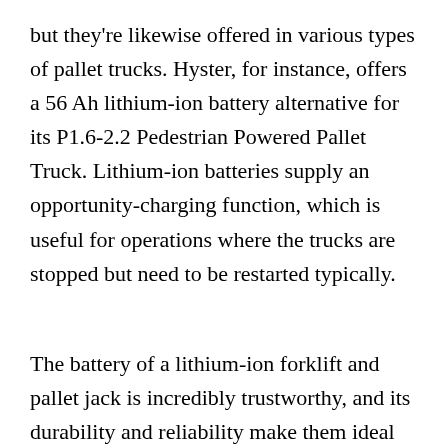but they're likewise offered in various types of pallet trucks. Hyster, for instance, offers a 56 Ah lithium-ion battery alternative for its P1.6-2.2 Pedestrian Powered Pallet Truck. Lithium-ion batteries supply an opportunity-charging function, which is useful for operations where the trucks are stopped but need to be restarted typically.
The battery of a lithium-ion forklift and pallet jack is incredibly trustworthy, and its durability and reliability make them ideal for warehouse environments. They are